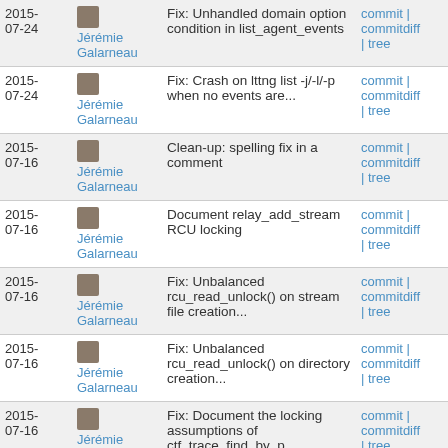| Date | Author | Message | Links |
| --- | --- | --- | --- |
| 2015-07-24 | Jérémie Galarneau | Fix: Unhandled domain option condition in list_agent_events | commit | commitdiff | tree |
| 2015-07-24 | Jérémie Galarneau | Fix: Crash on lttng list -j/-l/-p when no events are... | commit | commitdiff | tree |
| 2015-07-16 | Jérémie Galarneau | Clean-up: spelling fix in a comment | commit | commitdiff | tree |
| 2015-07-16 | Jérémie Galarneau | Document relay_add_stream RCU locking | commit | commitdiff | tree |
| 2015-07-16 | Jérémie Galarneau | Fix: Unbalanced rcu_read_unlock() on stream file creation... | commit | commitdiff | tree |
| 2015-07-16 | Jérémie Galarneau | Fix: Unbalanced rcu_read_unlock() on directory creation... | commit | commitdiff | tree |
| 2015-07-16 | Jérémie Galarneau | Fix: Document the locking assumptions of ctf_trace_find_by_p... | commit | commitdiff | tree |